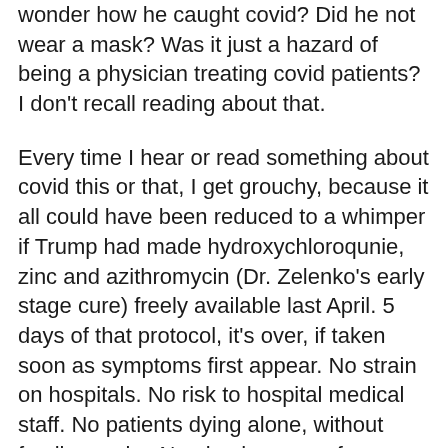wonder how he caught covid? Did he not wear a mask? Was it just a hazard of being a physician treating covid patients? I don't recall reading about that.
Every time I hear or read something about covid this or that, I get grouchy, because it all could have been reduced to a whimper if Trump had made hydroxychloroqunie, zinc and azithromycin (Dr. Zelenko's early stage cure) freely available last April. 5 days of that protocol, it's over, if taken soon as symptoms first appear. No strain on hospitals. No risk to hospital medical staff. No patients dying alone, without family nearby. Nursing homes safe. Political rallies safe. Football games safe. Churches safe. Businesses safe. Senior centers safe. Schools safe. The awful shit going on in Michigan would not have happened, because Michigan would have reopened. No excuse for